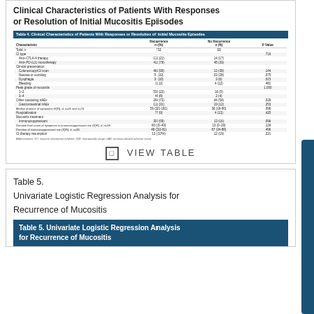Clinical Characteristics of Patients With Responses or Resolution of Initial Mucositis Episodes
| Characteristic | Recurrence n (%) | No Recurrence n (%) | P Value |
| --- | --- | --- | --- |
| Total, n | 52 | 63 |  |
| CI type |  |  | .716 |
| Anti–CTLA-4 therapy | 11 (21) | 14 (17) |  |
| Anti–PD-(L)1 monotherapy | 41 (79) | 48 (33) |  |
| Clinical presentation |  |  |  |
| Colonoscopy/GI scan | 46 (90) | 13 (39) | .144 |
| Nausea or vomiting | 5 (10) | 23 (28) | .075 |
| Dysphagia | 3 (10) | 3 (6) | .015 |
| Bleeding | 1 (2) | 4 (12) | .481 |
| Peak grade of mucositis |  |  | 1,000 |
| 1–2 | 53 (22) | 16 (5) |  |
| 3–4 | 4 (8) | 2 (4) |  |
| Other coexisting irAEs | 29 (72) | 44 (54) | .026 |
| Gastrointestinal irAEs | 11 (31) | 19 (12) | .253 |
| Median duration of symptoms (IQR), d; n=41 and n=76 | 56 (21-181) | 36 (18-90) | .096 |
| Hospitalization | 7 (9) | 4 (13) | .420 |
| Mucositis treatment |  |  |  |
| Immunosuppressant | 30 (59) | 13 (16) | .096 |
| Duration from onset of symptoms to immunosuppressant use (IQR), d, n=58 | 60 (0–43) | 13 (0–29) | .126 |
| Duration of immunosuppressant use (IQR), d, n=30 | 48 (32-81) | 87 (34-88) | .496 |
| CI therapy resumption | 13 (37%) | 12 (19) | .221 |
Abbreviations: ICI, immune checkpoint inhibitor; IQR, interquartile range; irAE, immune-related adverse event.
VIEW TABLE
Table 5.
Univariate Logistic Regression Analysis for Recurrence of Mucositis
Table 5. Univariate Logistic Regression Analysis for Recurrence of Mucositis